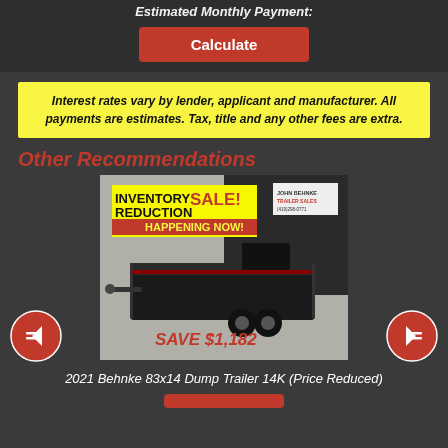Estimated Monthly Payment:
Calculate
Interest rates vary by lender, applicant and manufacturer. All payments are estimates. Tax, title and any other fees are extra.
Other Recommendations
[Figure (photo): Photo of a 2021 Behnke 83x14 Dump Trailer 14K with an 'Inventory Reduction SALE! Happening Now!' banner and 'SAVE $1,182' text overlay]
2021 Behnke 83x14 Dump Trailer 14K (Price Reduced)